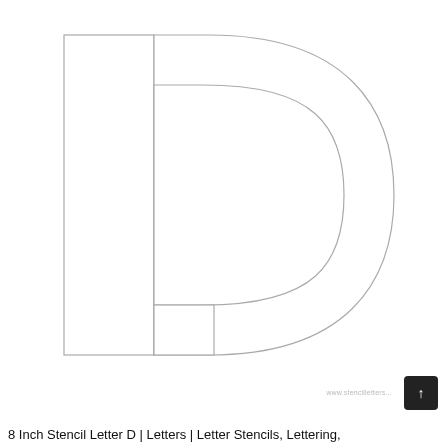[Figure (illustration): Large stencil letter D outline on white background. The letter consists of a tall vertical rectangle on the left forming the stem, and a large semicircular arc on the right forming the curved part of the D, with a smaller rectangular cutout at the bottom right inner corner. All outlines are thin gray lines on white.]
8 Inch Stencil Letter D | Letters | Letter Stencils, Lettering,